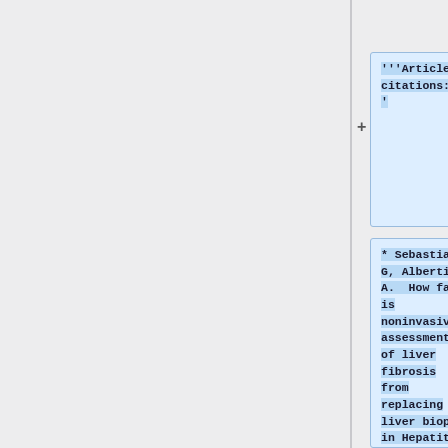'''Article citations:'''
* Sebastiani G, Alberti A.  How far is noninvasive assessment of liver fibrosis from replacing liver biopsy in Hepatitis C? ''Journal of Viral Hepatitis,'' 2012, 19